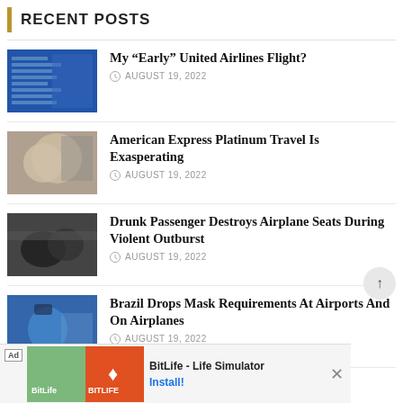RECENT POSTS
My “Early” United Airlines Flight? — AUGUST 19, 2022
American Express Platinum Travel Is Exasperating — AUGUST 19, 2022
Drunk Passenger Destroys Airplane Seats During Violent Outburst — AUGUST 19, 2022
Brazil Drops Mask Requirements At Airports And On Airplanes — AUGUST 19, 2022
[Figure (screenshot): Advertisement banner for BitLife - Life Simulator app with Install button]